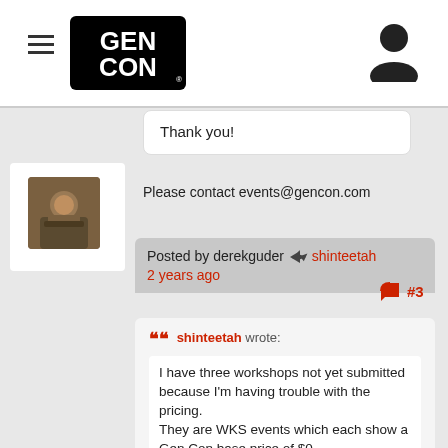Gen Con navigation bar with hamburger menu and user icon
Thank you!
Please contact events@gencon.com
[Figure (photo): User avatar photo showing a person in armor]
Posted by derekguder → shinteetah
2 years ago
#3
shinteetah wrote:

I have three workshops not yet submitted because I'm having trouble with the pricing.
They are WKS events which each show a Gen Con base price of $0.
When I add an additional fee, the final price does not update and still shows $0.